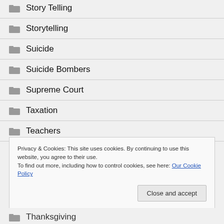Story Telling
Storytelling
Suicide
Suicide Bombers
Supreme Court
Taxation
Teachers
Privacy & Cookies: This site uses cookies. By continuing to use this website, you agree to their use. To find out more, including how to control cookies, see here: Our Cookie Policy
Thanksgiving